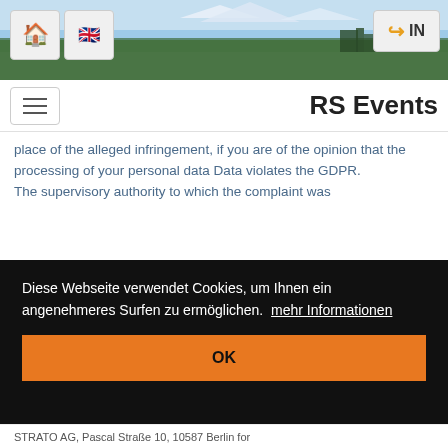[Figure (screenshot): Header banner with mountain/landscape photo background]
RS Events
place of the alleged infringement, if you are of the opinion that the processing of your personal data Data violates the GDPR.
The supervisory authority to which the complaint was submitted informs the complainant about the status and
Diese Webseite verwendet Cookies, um Ihnen ein angenehmeres Surfen zu ermöglichen.  mehr Informationen
OK
STRATO AG, Pascal Straße 10, 10587 Berlin for